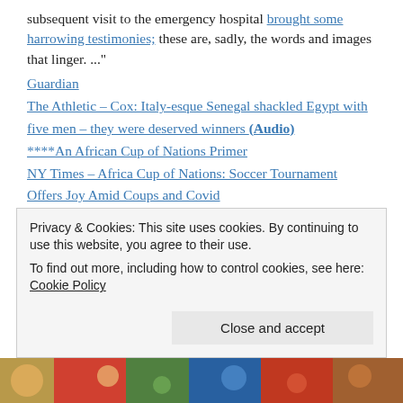subsequent visit to the emergency hospital brought some harrowing testimonies; these are, sadly, the words and images that linger. ..."
Guardian
The Athletic – Cox: Italy-esque Senegal shackled Egypt with five men – they were deserved winners (Audio)
****An African Cup of Nations Primer
NY Times – Africa Cup of Nations: Soccer Tournament Offers Joy Amid Coups and Covid
AFCON 2021: The Review
W – 2021 Africa Cup of Nations
YouTube: Senegal vs Egypt | AFCON 2021 FINAL
HIGHLIGHTS | 02/06/2022, Cameroon vs Egypt – CAF African
Privacy & Cookies: This site uses cookies. By continuing to use this website, you agree to their use. To find out more, including how to control cookies, see here: Cookie Policy
Close and accept
[Figure (photo): A strip of colorful crowd/celebration photo at the bottom of the page]